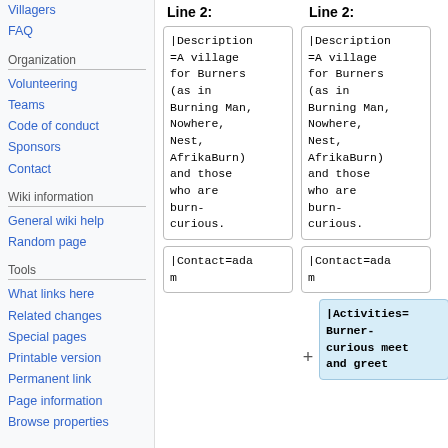Villagers
FAQ
Organization
Volunteering
Teams
Code of conduct
Sponsors
Contact
Wiki information
General wiki help
Random page
Tools
What links here
Related changes
Special pages
Printable version
Permanent link
Page information
Browse properties
Line 2: (left column header)
Line 2: (right column header)
|Description=A village for Burners (as in Burning Man, Nowhere, Nest, AfrikaBurn) and those who are burn-curious.
|Description=A village for Burners (as in Burning Man, Nowhere, Nest, AfrikaBurn) and those who are burn-curious.
|Contact=adam
|Contact=adam
|Activities=Burner-curious meet and greet